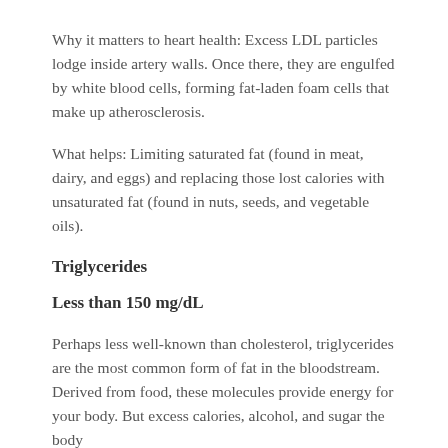Why it matters to heart health: Excess LDL particles lodge inside artery walls. Once there, they are engulfed by white blood cells, forming fat-laden foam cells that make up atherosclerosis.
What helps: Limiting saturated fat (found in meat, dairy, and eggs) and replacing those lost calories with unsaturated fat (found in nuts, seeds, and vegetable oils).
Triglycerides
Less than 150 mg/dL
Perhaps less well-known than cholesterol, triglycerides are the most common form of fat in the bloodstream. Derived from food, these molecules provide energy for your body. But excess calories, alcohol, and sugar the body